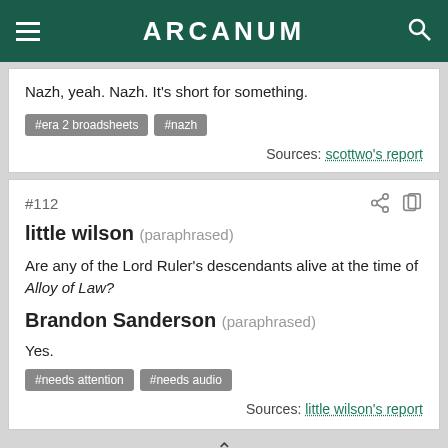ARCANUM
Nazh, yeah. Nazh. It's short for something.
#era 2 broadsheets
#nazh
Sources: scottwo's report
#112
little wilson (paraphrased)
Are any of the Lord Ruler's descendants alive at the time of Alloy of Law?
Brandon Sanderson (paraphrased)
Yes.
#needs attention
#needs audio
Sources: little wilson's report
Powered by Palanaeum (1.1.0)